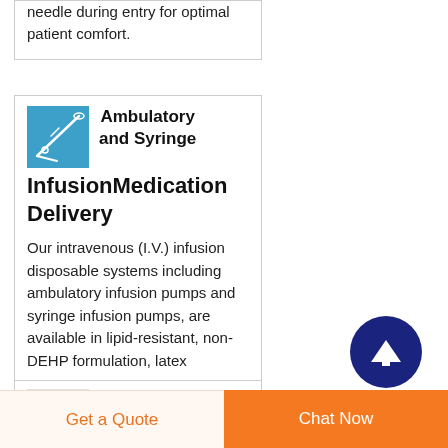needle during entry for optimal patient comfort.
Ambulatory and Syringe InfusionMedication Delivery
Our intravenous (I.V.) infusion disposable systems including ambulatory infusion pumps and syringe infusion pumps, are available in lipid-resistant, non-DEHP formulation, latex
[Figure (illustration): Blue square image showing IV/ambulatory infusion tubing or catheter]
[Figure (illustration): Circular dark navy button with upward arrow (scroll-to-top)]
IV Giving Set IV
[Figure (illustration): Gray square placeholder for IV Giving Set product image]
Get a Quote
Chat Now